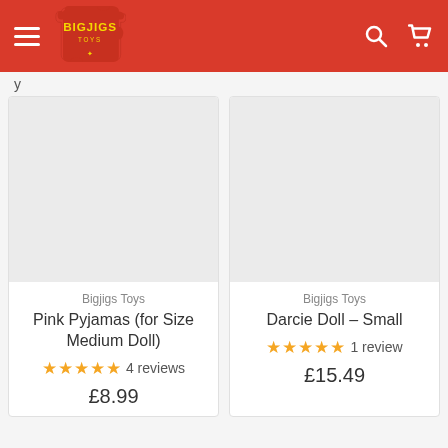[Figure (logo): Bigjigs Toys logo — red puzzle piece shape with yellow BIGJIGS text]
Bigjigs Toys
Pink Pyjamas (for Size Medium Doll)
★★★★★ 4 reviews
£8.99
Bigjigs Toys
Darcie Doll – Small
★★★★★ 1 review
£15.49